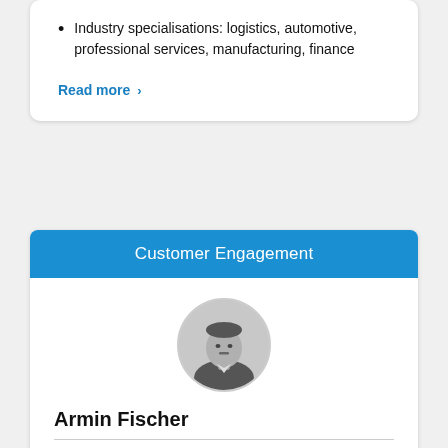Industry specialisations: logistics, automotive, professional services, manufacturing, finance
Read more ›
Customer Engagement
[Figure (photo): Circular black-and-white headshot photo of Armin Fischer]
Armin Fischer
Solution Architect, Avanade